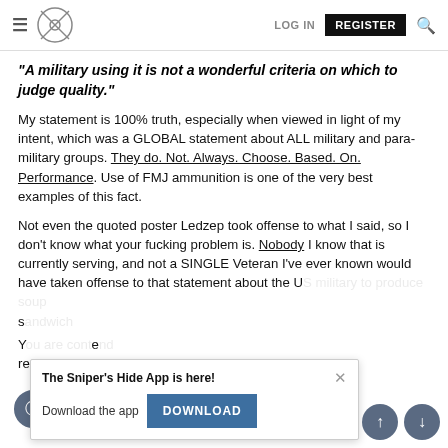Sniper's Hide Forum — LOG IN | REGISTER
"A military using it is not a wonderful criteria on which to judge quality."
My statement is 100% truth, especially when viewed in light of my intent, which was a GLOBAL statement about ALL military and para-military groups. They do. Not. Always. Choose. Based. On. Performance. Use of FMJ ammunition is one of the very best examples of this fact.
Not even the quoted poster Ledzep took offense to what I said, so I don't know what your fucking problem is. Nobody I know that is currently serving, and not a SINGLE Veteran I've ever known would have taken offense to that statement about the U... roduce soup s...
Y... ont... nd reading into it ALL KINDS of "my opinions" about cartridge choice, for and for since and like not to, criticizing could be...
[Figure (screenshot): Popup notification: 'The Sniper's Hide App is here!' with a DOWNLOAD button and a close (×) button. Below are navigation scroll buttons (up arrow, down arrow) on the bottom right.]